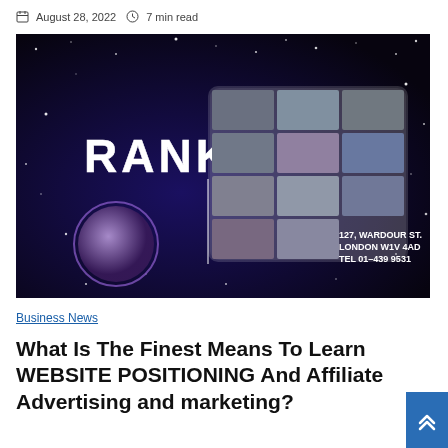August 28, 2022  7 min read
[Figure (photo): Vintage video still showing 'RANK' text logo on a space/dark blue background with a grid of small photographs and text reading '127, WARDOUR ST. LONDON W1V 4AD TEL 01-439 9531']
Business News
What Is The Finest Means To Learn WEBSITE POSITIONING And Affiliate Advertising and marketing?